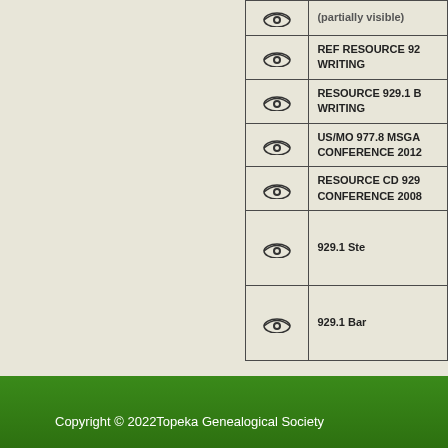| Icon | Call Number |
| --- | --- |
| [eye icon] | REF RESOURCE 92... WRITING |
| [eye icon] | RESOURCE 929.1 B... WRITING |
| [eye icon] | US/MO 977.8 MSGA... CONFERENCE 2012... |
| [eye icon] | RESOURCE CD 929... CONFERENCE 2008... |
| [eye icon] | 929.1 Ste |
| [eye icon] | 929.1 Bar |
Copyright © 2022Topeka Genealogical Society